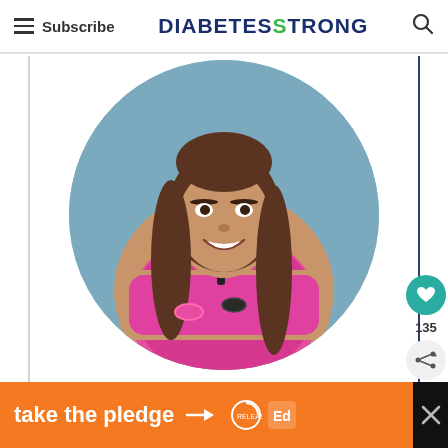Subscribe | DIABETESTRONG
[Figure (photo): Circular portrait photo of a smiling athletic woman with long brown hair, wearing a bright pink sleeveless top with arms crossed, posed against a light blue background.]
135
take the pledge →